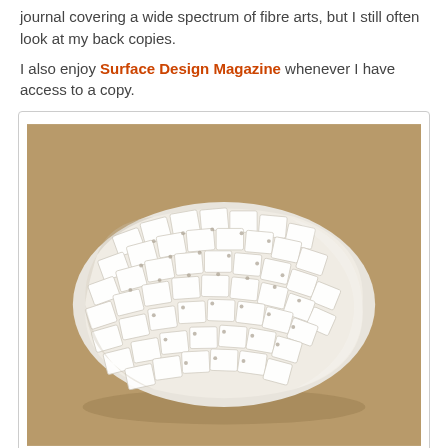journal covering a wide spectrum of fibre arts, but I still often look at my back copies.
I also enjoy Surface Design Magazine whenever I have access to a copy.
[Figure (photo): A plaited paper faceted form sculpture by Polly Pollock (2014). The object is a three-dimensional woven/plaited white paper structure with a rounded cylindrical form, showing diagonal weave pattern creating faceted squares, photographed on a brown/khaki background.]
Polly Pollock – Plaited Paper Faceted Form (2014)